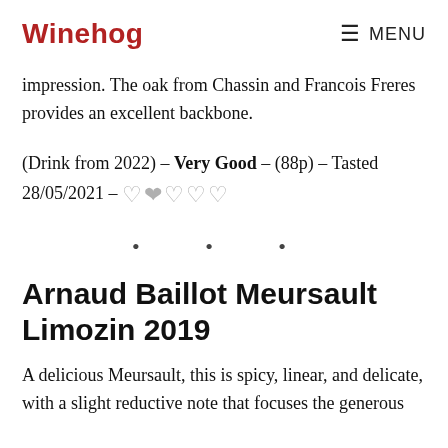Winehog   MENU
impression. The oak from Chassin and Francois Freres provides an excellent backbone.
(Drink from 2022) – Very Good – (88p) – Tasted 28/05/2021 – [hearts symbol]
· · ·
Arnaud Baillot Meursault Limozin 2019
A delicious Meursault, this is spicy, linear, and delicate, with a slight reductive note that focuses the generous